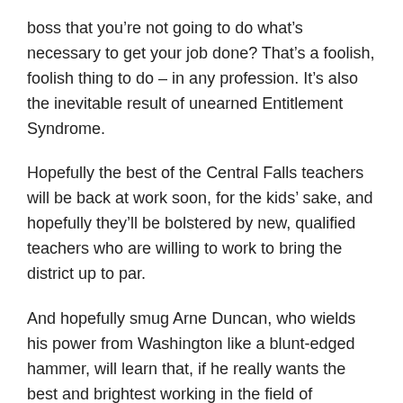boss that you're not going to do what's necessary to get your job done? That's a foolish, foolish thing to do – in any profession. It's also the inevitable result of unearned Entitlement Syndrome.
Hopefully the best of the Central Falls teachers will be back at work soon, for the kids' sake, and hopefully they'll be bolstered by new, qualified teachers who are willing to work to bring the district up to par.
And hopefully smug Arne Duncan, who wields his power from Washington like a blunt-edged hammer, will learn that, if he really wants the best and brightest working in the field of education, that salary talks and his B.S. will only make good teachers walk.